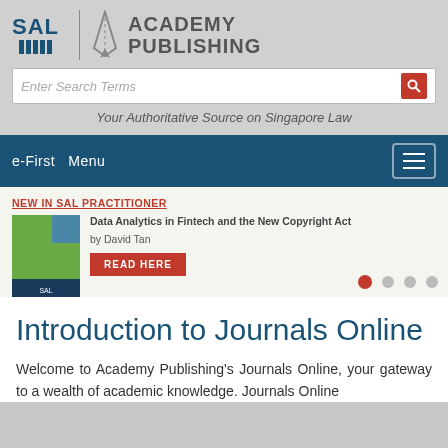[Figure (logo): SAL Academy Publishing logo with pen icon]
Enter Search Terms
Your Authoritative Source on Singapore Law
e-First  Menu
NEW IN SAL PRACTITIONER
Data Analytics in Fintech and the New Copyright Act
by David Tan
READ HERE
Introduction to Journals Online
Welcome to Academy Publishing's Journals Online, your gateway to a wealth of academic knowledge. Journals Online